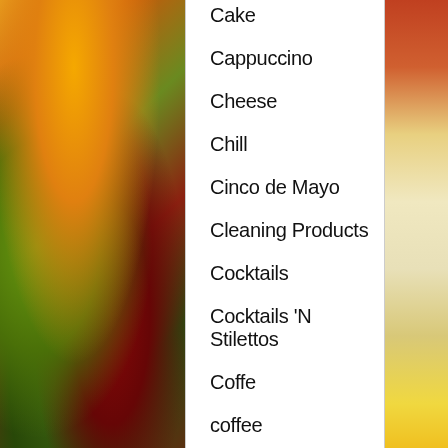Cake
Cappuccino
Cheese
Chill
Cinco de Mayo
Cleaning Products
Cocktails
Cocktails 'N Stilettos
Coffe
coffee
Comfort Food
Condiment
Cookbook
Cookbooks 'N Stilettos
Cookies
Cookin' Round The Web
Cooking In Stilettos